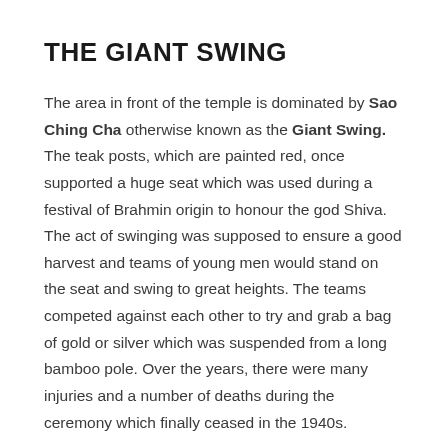THE GIANT SWING
The area in front of the temple is dominated by Sao Ching Cha otherwise known as the Giant Swing. The teak posts, which are painted red, once supported a huge seat which was used during a festival of Brahmin origin to honour the god Shiva. The act of swinging was supposed to ensure a good harvest and teams of young men would stand on the seat and swing to great heights. The teams competed against each other to try and grab a bag of gold or silver which was suspended from a long bamboo pole. Over the years, there were many injuries and a number of deaths during the ceremony which finally ceased in the 1940s.